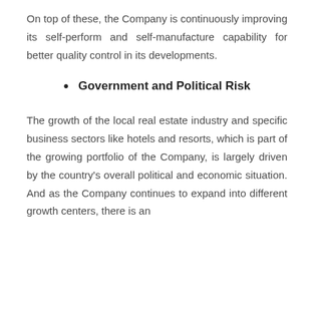On top of these, the Company is continuously improving its self-perform and self-manufacture capability for better quality control in its developments.
Government and Political Risk
The growth of the local real estate industry and specific business sectors like hotels and resorts, which is part of the growing portfolio of the Company, is largely driven by the country's overall political and economic situation. And as the Company continues to expand into different growth centers, there is an